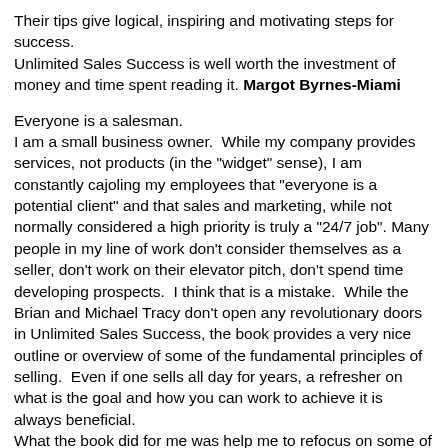Their tips give logical, inspiring and motivating steps for success.
Unlimited Sales Success is well worth the investment of money and time spent reading it. Margot Byrnes-Miami
Everyone is a salesman.
I am a small business owner.  While my company provides services, not products (in the "widget" sense), I am constantly cajoling my employees that "everyone is a potential client" and that sales and marketing, while not normally considered a high priority is truly a "24/7 job". Many people in my line of work don't consider themselves as a seller, don't work on their elevator pitch, don't spend time developing prospects.  I think that is a mistake.  While the Brian and Michael Tracy don't open any revolutionary doors in Unlimited Sales Success, the book provides a very nice outline or overview of some of the fundamental principles of selling.  Even if one sells all day for years, a refresher on what is the goal and how you can work to achieve it is always beneficial.
What the book did for me was help me to refocus on some of the simple, yet important elements of selling, presenting, and